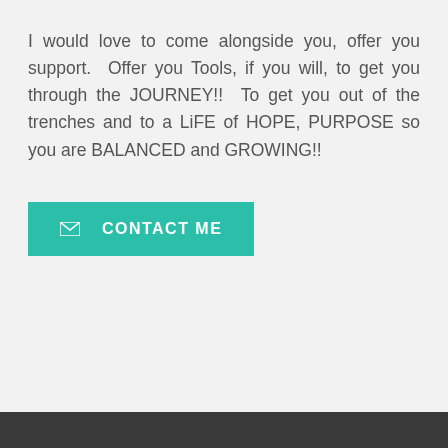I would love to come alongside you, offer you support.  Offer you Tools, if you will, to get you through the JOURNEY!!  To get you out of the trenches and to a LiFE of HOPE, PURPOSE so you are BALANCED and GROWING!!
✉ CONTACT ME